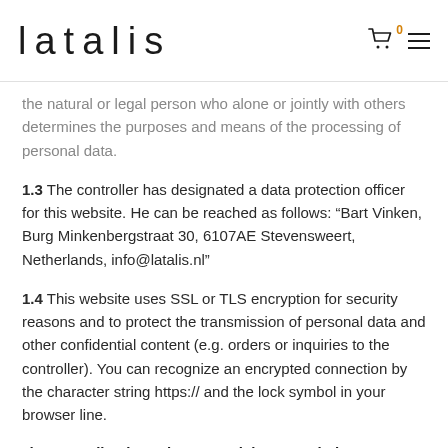latalis
the natural or legal person who alone or jointly with others determines the purposes and means of the processing of personal data.
1.3 The controller has designated a data protection officer for this website. He can be reached as follows: “Bart Vinken, Burg Minkenbergstraat 30, 6107AE Stevensweert, Netherlands, info@latalis.nl”
1.4 This website uses SSL or TLS encryption for security reasons and to protect the transmission of personal data and other confidential content (e.g. orders or inquiries to the controller). You can recognize an encrypted connection by the character string https:// and the lock symbol in your browser line.
2) Data Collection When You Visit Our Website